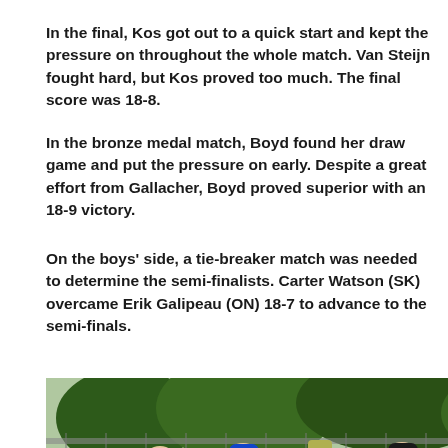In the final, Kos got out to a quick start and kept the pressure on throughout the whole match. Van Steijn fought hard, but Kos proved too much. The final score was 18-8.
In the bronze medal match, Boyd found her draw game and put the pressure on early. Despite a great effort from Gallacher, Boyd proved superior with an 18-9 victory.
On the boys' side, a tie-breaker match was needed to determine the semi-finalists. Carter Watson (SK) overcame Erik Galipeau (ON) 18-7 to advance to the semi-finals.
[Figure (photo): Four young male lawn bowlers standing together outdoors on a bowls green, three wearing medals and holding trophies, dressed in sports attire including shorts. Fencing and trees visible in the background, with spectators seated.]